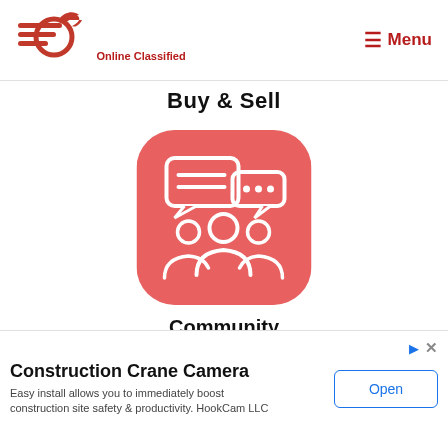[Figure (logo): Online Classified website logo with red horse/arrow icon and text 'Online Classified']
≡ Menu
Buy & Sell
[Figure (illustration): Red rounded square app icon with white community/people chat illustration showing three people with speech bubbles]
Community
[Figure (other): Advertisement banner for Construction Crane Camera by HookCam LLC with Open button]
Construction Crane Camera
Easy install allows you to immediately boost construction site safety & productivity. HookCam LLC